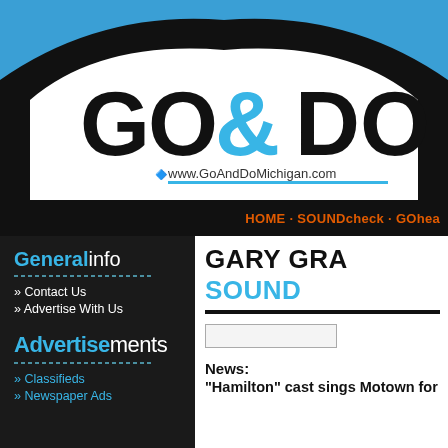[Figure (logo): GO&DO logo on blue and black background with white arch shape, with www.GoAndDoMichigan.com URL below]
HOME · SOUNDcheck · GOhea...
Generalinfo
» Contact Us
» Advertise With Us
Advertisements
» Classifieds
» Newspaper Ads
GARY GRA
SOUND
News: "Hamilton" cast sings Motown for